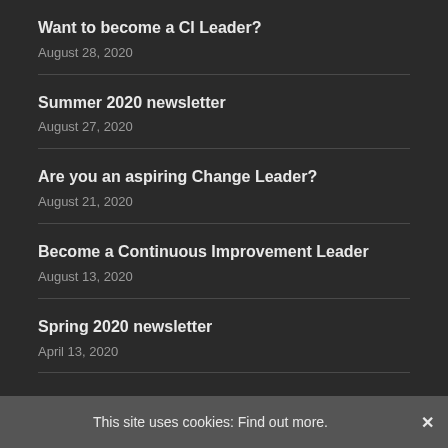Want to become a CI Leader?
August 28, 2020
Summer 2020 newsletter
August 27, 2020
Are you an aspiring Change Leader?
August 21, 2020
Become a Continuous Improvement Leader
August 13, 2020
Spring 2020 newsletter
April 13, 2020
Sign up for Process Insight Newsletter
This site uses cookies: Find out more.